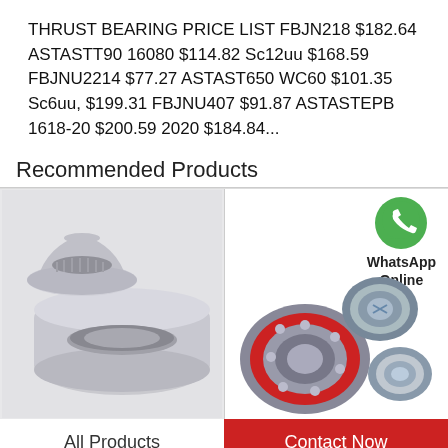THRUST BEARING PRICE LIST FBJN218 $182.64 ASTASTT90 16080 $114.82 Sc12uu $168.59 FBJNU2214 $77.27 ASTAST650 WC60 $101.35 Sc6uu, $199.31 FBJNU407 $91.87 ASTASTEPB 1618-20 $200.59 2020 $184.84...
Recommended Products
[Figure (photo): Two tapered roller bearings (metallic silver), one disassembled showing inner ring and cone, displayed on a light gray background.]
[Figure (photo): Group of ball bearings of various sizes including one with red rubber seal, displayed with a WhatsApp Online logo/icon above them.]
All Products
Contact Now